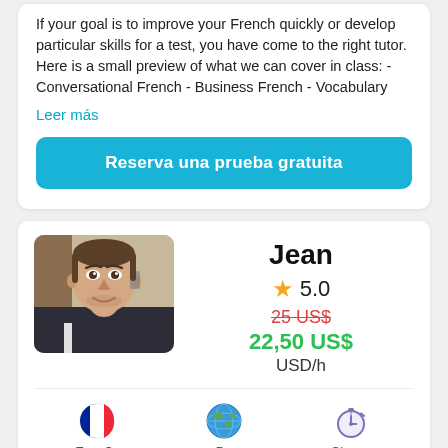If your goal is to improve your French quickly or develop particular skills for a test, you have come to the right tutor. Here is a small preview of what we can cover in class: - Conversational French - Business French - Vocabulary
Leer más
Reserva una prueba gratuita
[Figure (photo): Profile photo of tutor Jean, a young man with short hair, smiling]
Jean
★ 5.0
25 US$
22,50 US$
USD/h
Enseña
De
Clases